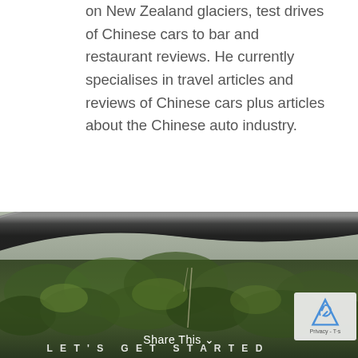on New Zealand glaciers, test drives of Chinese cars to bar and restaurant reviews. He currently specialises in travel articles and reviews of Chinese cars plus articles about the Chinese auto industry.
[Figure (photo): Aerial or elevated view of dense green forest/trees with a dark curved architectural element (possibly a roof or bridge) sweeping across the foreground, partially obscuring the tree canopy below.]
Share This
LET'S GET STARTED